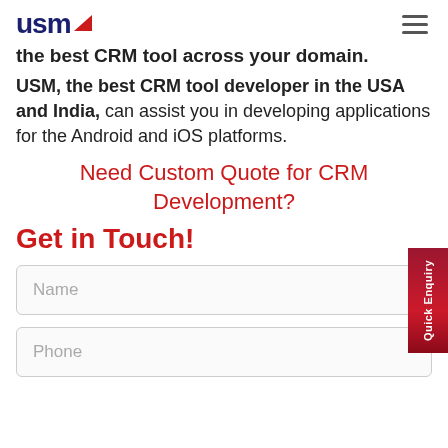USM (logo) — navigation header with hamburger menu
the best CRM tool across your domain.
USM, the best CRM tool developer in the USA and India, can assist you in developing applications for the Android and iOS platforms.
Need Custom Quote for CRM Development?
Get in Touch!
Name
Phone